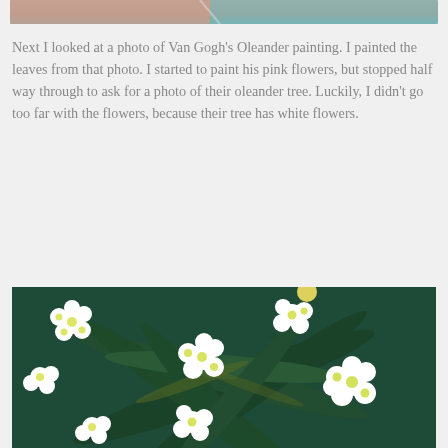[Figure (photo): Partial view of a painting or photo, showing skin tones and teal/blue-green colors at the top of the page]
Next I looked at a photo of Van Gogh's Oleander painting. I painted the leaves from that photo. I started to paint his pink flowers, but stopped half way through to ask for a photo of their oleander tree. Luckily, I didn't go too far with the flowers, because their tree has white flowers.
[Figure (photo): A painting of white oleander flowers with green leaves on a teal/dark green background, showing clusters of white five-petaled flowers with yellow centers arranged among long dark green leaves]